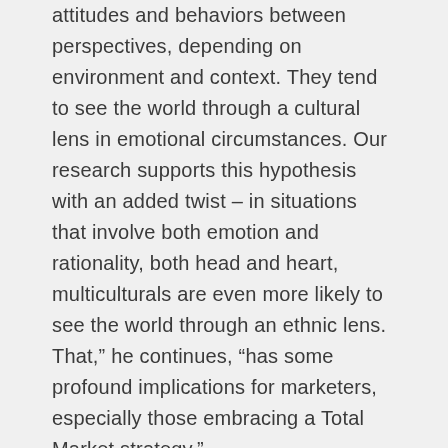attitudes and behaviors between perspectives, depending on environment and context. They tend to see the world through a cultural lens in emotional circumstances. Our research supports this hypothesis with an added twist – in situations that involve both emotion and rationality, both head and heart, multiculturals are even more likely to see the world through an ethnic lens. That," he continues, "has some profound implications for marketers, especially those embracing a Total Market strategy."
To request a media pass to attend "A Conversation About the Emotional and Rational Mindsets of Multicultural Consumers," please contact Alexis Van Eyken, PR Coordinator, UWG at Alexis.VanEyken@uwgny.com or 212.219.7239.
For more information about the site...